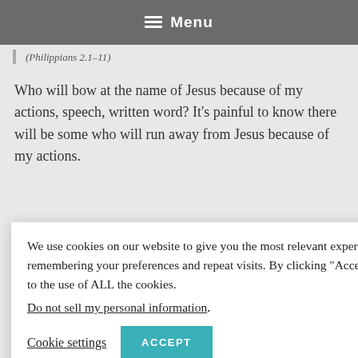Menu
(Philippians 2.1–11)
Who will bow at the name of Jesus because of my actions, speech, written word? It’s painful to know there will be some who will run away from Jesus because of my actions.
...strates the ...le who we
...ts for the
We use cookies on our website to give you the most relevant experience by remembering your preferences and repeat visits. By clicking “Accept”, you consent to the use of ALL the cookies. Do not sell my personal information.
Cookie settings
ACCEPT
Recommended Resou...